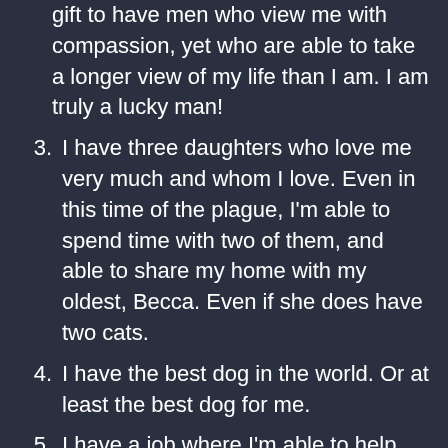gift to have men who view me with compassion, yet who are able to take a longer view of my life than I am. I am truly a lucky man!
3. I have three daughters who love me very much and whom I love. Even in this time of the plague, I'm able to spend time with two of them, and able to share my home with my oldest, Becca. Even if she does have two cats.
4. I have the best dog in the world. Or at least the best dog for me.
5. I have a job where I'm able to help make a difference in some folks' lives. Hope is